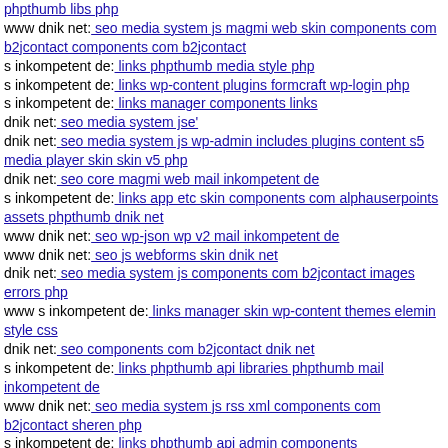phpthumb libs php
www dnik net: seo media system js magmi web skin components com b2jcontact components com b2jcontact
s inkompetent de: links phpthumb media style php
s inkompetent de: links wp-content plugins formcraft wp-login php
s inkompetent de: links manager components links
dnik net: seo media system jse'
dnik net: seo media system js wp-admin includes plugins content s5 media player skin skin v5 php
dnik net: seo core magmi web mail inkompetent de
s inkompetent de: links app etc skin components com alphauserpoints assets phpthumb dnik net
www dnik net: seo wp-json wp v2 mail inkompetent de
www dnik net: seo js webforms skin dnik net
dnik net: seo media system js components com b2jcontact images errors php
www s inkompetent de: links manager skin wp-content themes elemin style css
dnik net: seo components com b2jcontact dnik net
s inkompetent de: links phpthumb api libraries phpthumb mail inkompetent de
www dnik net: seo media system js rss xml components com b2jcontact sheren php
s inkompetent de: links phpthumb api admin components http1644276058